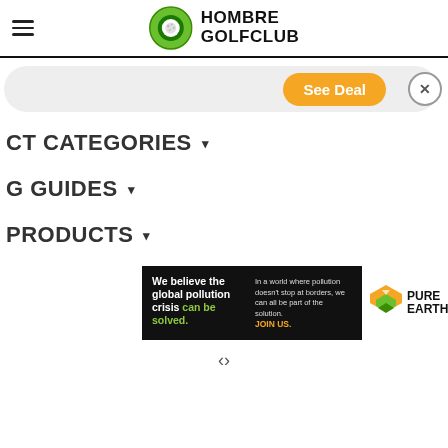Hombre Golfclub
[Figure (other): Orange 'See Deal' button with close X button on a light gray rounded promo bar]
CT CATEGORIES ▾
G GUIDES ▾
PRODUCTS ▾
[Figure (other): Pure Earth advertisement banner: black left panel with text 'We believe the global pollution crisis can be solved.' and 'JOIN US.', right panel with Pure Earth logo]